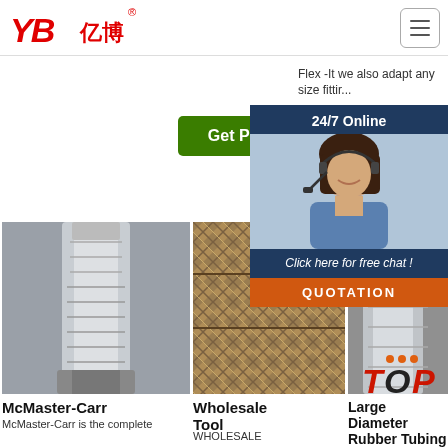[Figure (logo): YB亿博 company logo in red with registered trademark symbol]
Flex -It we also adapt any size fittir...
Get Price
G
[Figure (photo): Hose fitting / metal connector close-up photo]
[Figure (photo): Braided hose texture close-up photo]
[Figure (photo): Partially visible hose fitting photo]
McMaster-Carr
Wholesale Tool
Large Diameter Rubber Tubing
McMaster-Carr is the complete
WHOLESALE
[Figure (infographic): 24/7 Online chat widget with customer service photo, 'Click here for free chat!' text and QUOTATION button]
[Figure (other): TOP badge with orange dots]